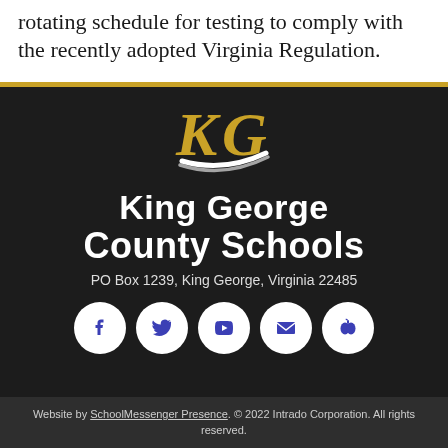rotating schedule for testing to comply with the recently adopted Virginia Regulation.
[Figure (logo): King George County Schools logo with KG emblem in gold and white on dark background, showing stylized K and G letters with swoosh design]
King George
County Schools
PO Box 1239, King George, Virginia 22485
[Figure (infographic): Row of five white circular social media icons on dark background: Facebook, Twitter, YouTube, Email, and a school/apple icon]
Website by SchoolMessenger Presence. © 2022 Intrado Corporation. All rights reserved.